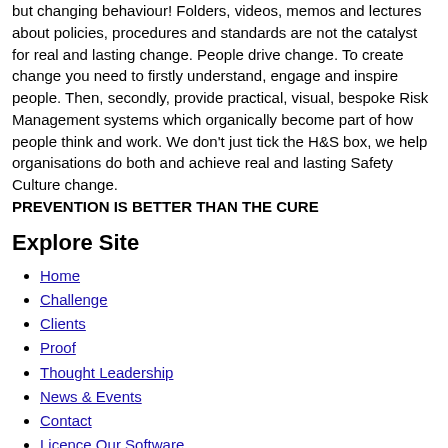but changing behaviour! Folders, videos, memos and lectures about policies, procedures and standards are not the catalyst for real and lasting change. People drive change. To create change you need to firstly understand, engage and inspire people. Then, secondly, provide practical, visual, bespoke Risk Management systems which organically become part of how people think and work. We don't just tick the H&S box, we help organisations do both and achieve real and lasting Safety Culture change. PREVENTION IS BETTER THAN THE CURE
Explore Site
Home
Challenge
Clients
Proof
Thought Leadership
News & Events
Contact
Licence Our Software
Careers
Contact